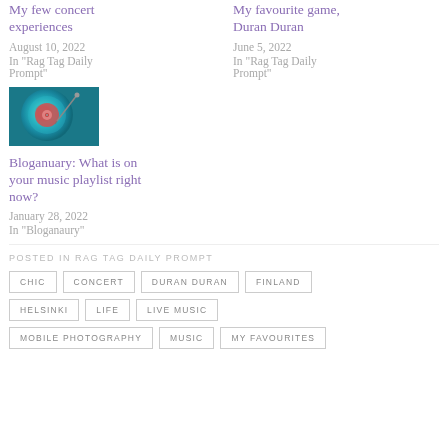My few concert experiences
August 10, 2022
In "Rag Tag Daily Prompt"
My favourite game, Duran Duran
June 5, 2022
In "Rag Tag Daily Prompt"
[Figure (photo): Close-up of a vinyl record on a turntable, glowing teal/blue with a pink/red label, stylus visible]
Bloganuary: What is on your music playlist right now?
January 28, 2022
In "Bloganaury"
POSTED IN RAG TAG DAILY PROMPT
CHIC
CONCERT
DURAN DURAN
FINLAND
HELSINKI
LIFE
LIVE MUSIC
MOBILE PHOTOGRAPHY
MUSIC
MY FAVOURITES